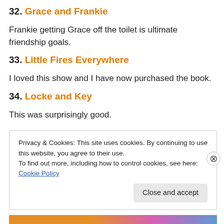32. Grace and Frankie
Frankie getting Grace off the toilet is ultimate friendship goals.
33. Little Fires Everywhere
I loved this show and I have now purchased the book.
34. Locke and Key
This was surprisingly good.
Privacy & Cookies: This site uses cookies. By continuing to use this website, you agree to their use. To find out more, including how to control cookies, see here: Cookie Policy